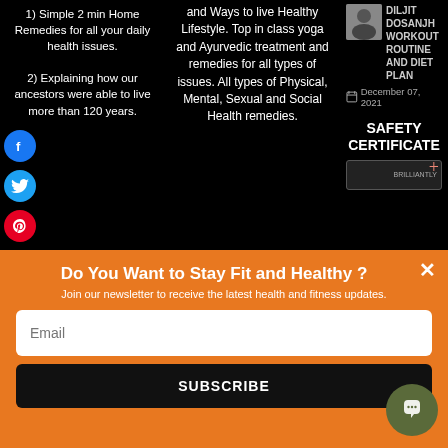1) Simple 2 min Home Remedies for all your daily health issues.
2) Explaining how our ancestors were able to live more than 120 years.
3) The secret of good health followed by celebs that you can also follow.
4) Benefits of
and Ways to live Healthy Lifestyle. Top in class yoga and Ayurvedic treatment and remedies for all types of issues. All types of Physical, Mental, Sexual and Social Health remedies.
DILJIT DOSANJH WORKOUT ROUTINE AND DIET PLAN
December 07, 2021
SAFETY CERTIFICATE
Do You Want to Stay Fit and Healthy?
Join our newsletter to receive the latest health and fitness updates.
Email
SUBSCRIBE